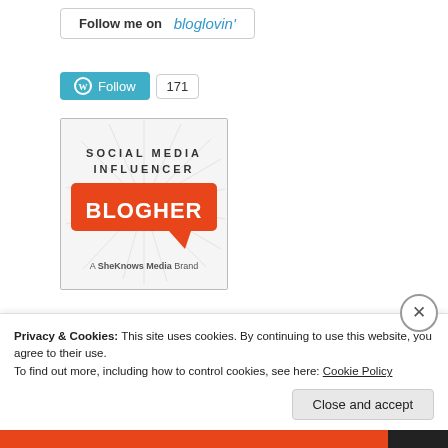[Figure (logo): Follow me on bloglovin' button]
[Figure (logo): WordPress Follow button with 171 followers count]
[Figure (logo): BlogHer Social Media Influencer badge - A SheKnows Media Brand]
Privacy & Cookies: This site uses cookies. By continuing to use this website, you agree to their use.
To find out more, including how to control cookies, see here: Cookie Policy
Close and accept